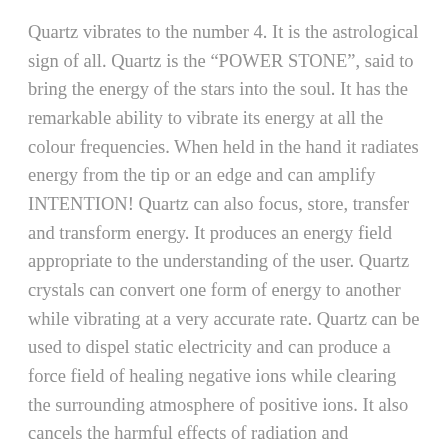Quartz vibrates to the number 4. It is the astrological sign of all. Quartz is the “POWER STONE”, said to bring the energy of the stars into the soul. It has the remarkable ability to vibrate its energy at all the colour frequencies. When held in the hand it radiates energy from the tip or an edge and can amplify INTENTION! Quartz can also focus, store, transfer and transform energy. It produces an energy field appropriate to the understanding of the user. Quartz crystals can convert one form of energy to another while vibrating at a very accurate rate. Quartz can be used to dispel static electricity and can produce a force field of healing negative ions while clearing the surrounding atmosphere of positive ions. It also cancels the harmful effects of radiation and radioactivity. Also known as a stone of harmony, Quartz, is calming, centring and balancing. It surrounds one with protection by amplifying white light. Quartz enhances the qualities in